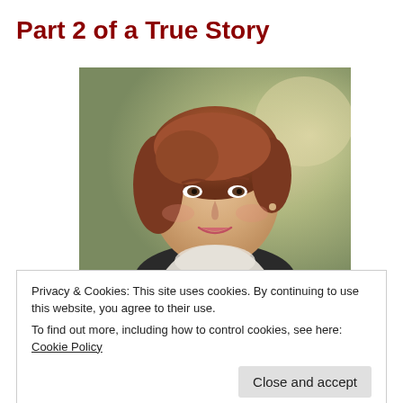Part 2 of a True Story
[Figure (photo): Portrait photo of a middle-aged woman with auburn/reddish-brown hair, smiling, wearing a black turtleneck and light jacket, photographed outdoors with a blurred background.]
Privacy & Cookies: This site uses cookies. By continuing to use this website, you agree to their use.
To find out more, including how to control cookies, see here: Cookie Policy
Close and accept